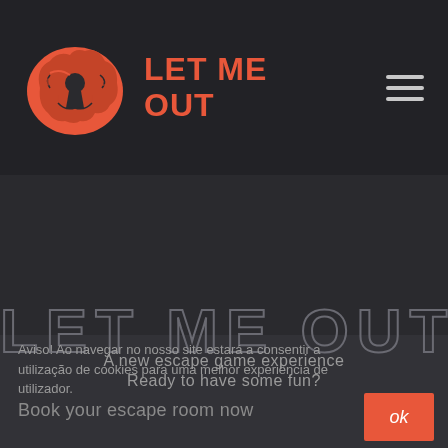[Figure (logo): Let Me Out escape room logo: orange brain/keyhole icon with 'LET ME OUT' text in orange]
[Figure (illustration): Hamburger menu icon (three horizontal lines) in top right corner]
LET ME OUT
A new escape game experience
Ready to have some fun?
Book your escape room now
Aviso! Ao navegar no nosso site estará a consentir a utilização de cookies para uma melhor experiência de utilizador.
ok